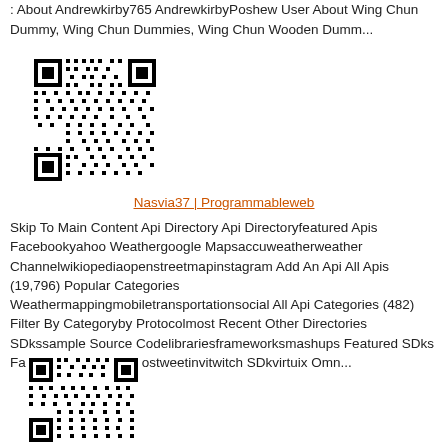: About Andrewkirby765 AndrewkirbyPoshew User About Wing Chun Dummy, Wing Chun Dummies, Wing Chun Wooden Dumm...
[Figure (other): QR code image]
Nasvia37 | Programmableweb
Skip To Main Content Api Directory Api Directoryfeatured Apis Facebookyahoo Weathergoogle Mapsaccuweatherweather Channelwikiopediaopenstreetmapinstagram Add An Api All Apis (19,796) Popular Categories Weathermappingmobiletransportationsocial All Api Categories (482) Filter By Categoryby Protocolmost Recent Other Directories SDkssample Source Codelibrariesframeworksmashups Featured SDks Fabric Twitter Kit For Iostweetinvitwitch SDkvirtuix Omn...
[Figure (other): QR code image]